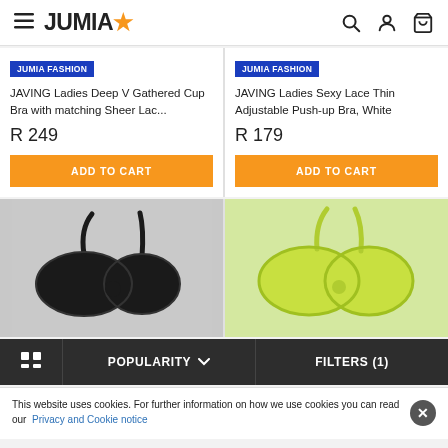JUMIA
[Figure (screenshot): Jumia e-commerce product listing page showing bras. Two product cards at top with text details and Add to Cart buttons, two product images below, a sort/filter bar, and cookie notice at the bottom.]
JUMIA FASHION
JAVING Ladies Deep V Gathered Cup Bra with matching Sheer Lac...
R 249
ADD TO CART
JUMIA FASHION
JAVING Ladies Sexy Lace Thin Adjustable Push-up Bra, White
R 179
ADD TO CART
POPULARITY
FILTERS (1)
This website uses cookies. For further information on how we use cookies you can read our Privacy and Cookie notice